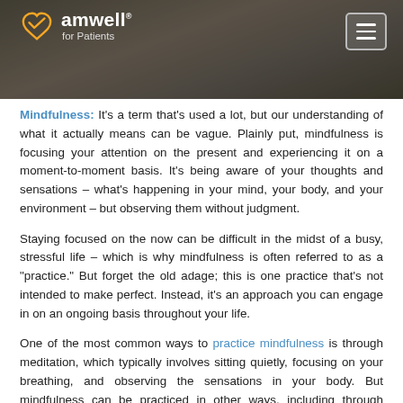[Figure (photo): Amwell for Patients header with dark overlay photo of a person in a hat]
amwell for Patients
Mindfulness: It's a term that's used a lot, but our understanding of what it actually means can be vague. Plainly put, mindfulness is focusing your attention on the present and experiencing it on a moment-to-moment basis. It's being aware of your thoughts and sensations – what's happening in your mind, your body, and your environment – but observing them without judgment.
Staying focused on the now can be difficult in the midst of a busy, stressful life – which is why mindfulness is often referred to as a "practice." But forget the old adage; this is one practice that's not intended to make perfect. Instead, it's an approach you can engage in on an ongoing basis throughout your life.
One of the most common ways to practice mindfulness is through meditation, which typically involves sitting quietly, focusing on your breathing, and observing the sensations in your body. But mindfulness can be practiced in other ways, including through physical activities that involve meditative movement, such as yoga, tai chi, aikido, or walking. You can